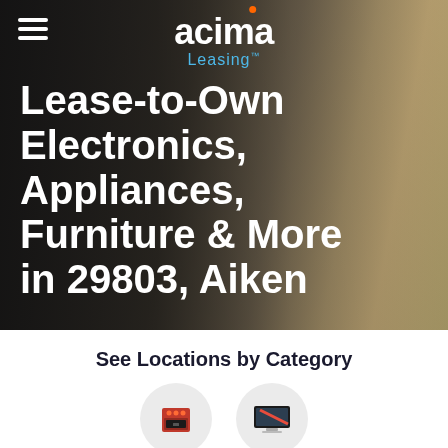[Figure (screenshot): Acima Leasing website hero section with logo, hamburger menu, and woman smiling while looking down, dark overlay on left side]
Lease-to-Own Electronics, Appliances, Furniture & More in 29803, Aiken
See Locations by Category
[Figure (illustration): Appliances category icon - red/orange oven/stove appliance icon on grey circle]
Appliances
[Figure (illustration): Electronics category icon - dark screen/TV icon on grey circle]
Electronics